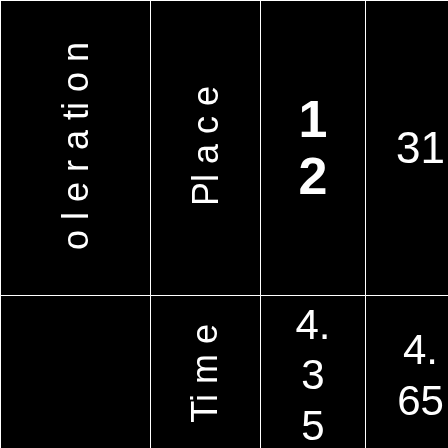| o l e r a ti o n | Pl a c e | 1
2 | 31 | 13 |  |
|  | Ti m e | 4.3 5 | 4.65 | 4.17 |  |